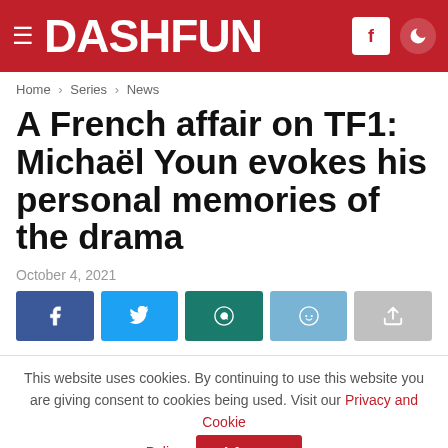DASHFUN
Home › Series › News
A French affair on TF1: Michaël Youn evokes his personal memories of the drama
October 4, 2021
[Figure (other): Social share buttons: Facebook, Twitter, WhatsApp, Reddit, Share]
This website uses cookies. By continuing to use this website you are giving consent to cookies being used. Visit our Privacy and Cookie Policy.
I Agree